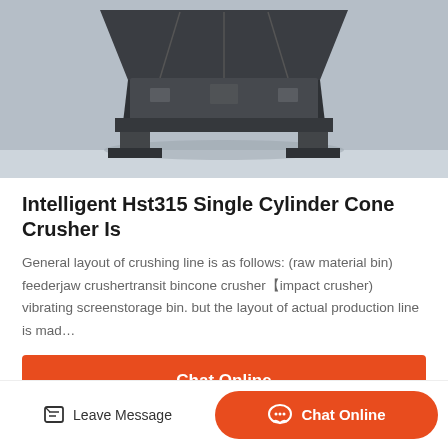[Figure (photo): Industrial cone crusher machine on a factory floor, shot from above at an angle, showing the dark metal frame and legs on a light gray concrete surface]
Intelligent Hst315 Single Cylinder Cone Crusher Is
General layout of crushing line is as follows: (raw material bin) feederjaw crushertransit bincone crusher【impact crusher) vibrating screenstorage bin. but the layout of actual production line is mad…
[Figure (photo): Interior of an industrial facility/warehouse showing steel beams, ceiling structures, wall panels, and manufacturing equipment]
Leave Message   Chat Online